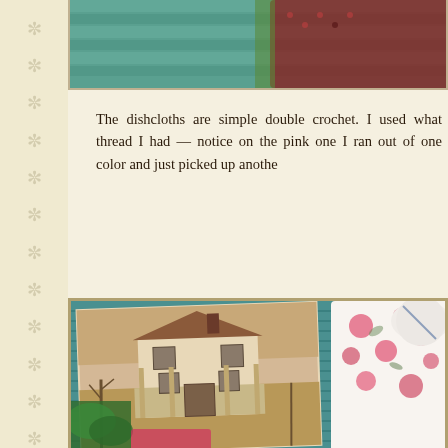[Figure (photo): Top partial photo showing crochet dishcloths with colorful striped pattern in red, green, and pink colors]
The dishcloths are simple double crochet. I used what thread I had — notice on the pink one I ran out of one color and just picked up anothe
[Figure (photo): Photo of an old two-story farmhouse in sepia tone, with a vintage photograph visible, alongside floral fabric items and teal crocheted textile on table]